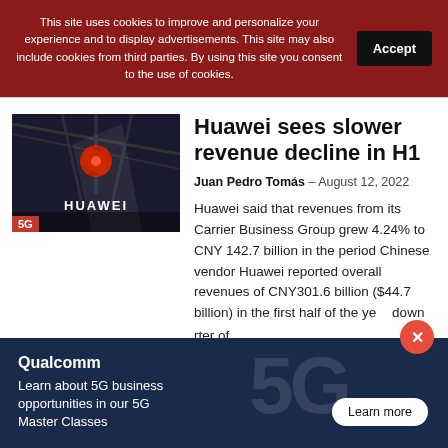This site uses cookies to improve and personalize your experience and to display advertisements. This site may also include cookies from third parties. By using this site you consent to the use of cookies.
[Figure (photo): Huawei logo sign lit in red on a dark background with '5G' badge in lower left corner]
Huawei sees slower revenue decline in H1
Juan Pedro Tomás – August 12, 2022
Huawei said that revenues from its Carrier Business Group grew 4.24% to CNY 142.7 billion in the period Chinese vendor Huawei reported overall revenues of CNY301.6 billion ($44.7 billion) in the first half of the year down quarter of
[Figure (screenshot): Qualcomm advertisement: 'Learn about 5G business opportunities in our 5G Master Classes' with a Learn more button on dark navy background with large 5G watermark]